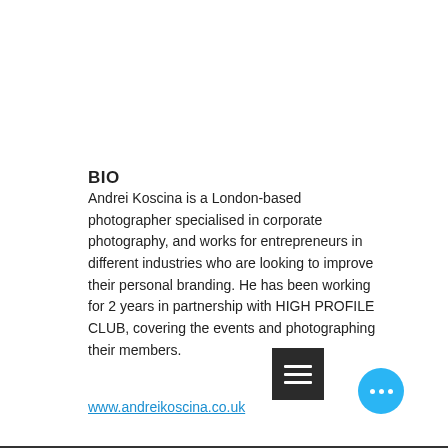BIO
Andrei Koscina is a London-based photographer specialised in corporate photography, and works for entrepreneurs in different industries who are looking to improve their personal branding. He has been working for 2 years in partnership with HIGH PROFILE CLUB, covering the events and photographing their members.
www.andreikoscina.co.uk